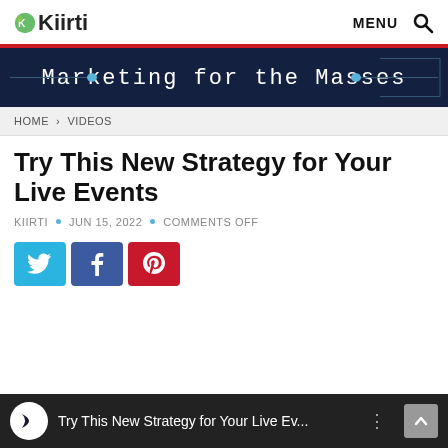Kiirti — MENU [search icon]
[Figure (screenshot): Marketing for the Masses dark blue banner with decorative horizontal lines and dots on either side of the text]
HOME > VIDEOS
Try This New Strategy for Your Live Events
KIIRTI • JUN 15, 2022 • COMMENTS OFF
[Figure (infographic): Three social sharing buttons: Twitter (blue), Facebook (dark blue), Pinterest (red)]
[Figure (screenshot): Video thumbnail bar showing a white circular logo mark icon and text 'Try This New Strategy for Your Live Ev...' with menu dots and a scroll-to-top button]